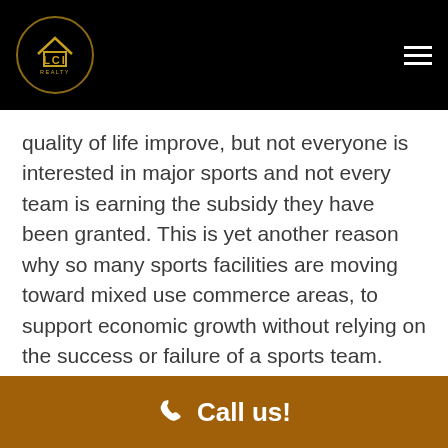[Figure (logo): LCI Realty logo — circular gold border with house icon, LCI text, and REALTY text]
quality of life improve, but not everyone is interested in major sports and not every team is earning the subsidy they have been granted. This is yet another reason why so many sports facilities are moving toward mixed use commerce areas, to support economic growth without relying on the success or failure of a sports team.
Call us!